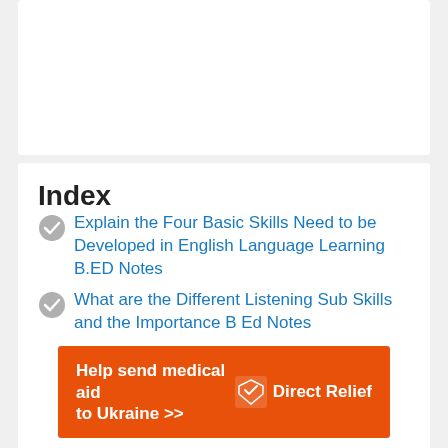Index
Explain the Four Basic Skills Need to be Developed in English Language Learning B.ED Notes
What are the Different Listening Sub Skills and the Importance B Ed Notes
[Figure (other): Direct Relief advertisement banner: Help send medical aid to Ukraine >> with Direct Relief logo]